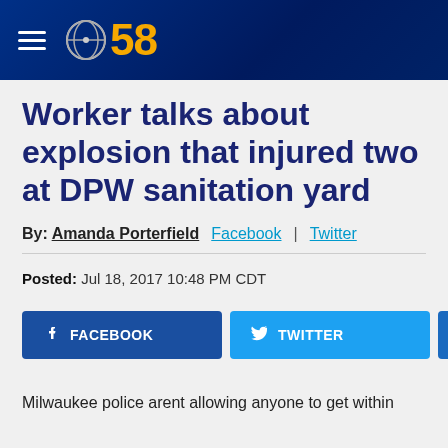CBS 58
Worker talks about explosion that injured two at DPW sanitation yard
By: Amanda Porterfield  Facebook | Twitter
Posted: Jul 18, 2017 10:48 PM CDT
[Figure (infographic): Social sharing buttons: Facebook, Twitter, and email (@)]
Milwaukee police arent allowing anyone to get within